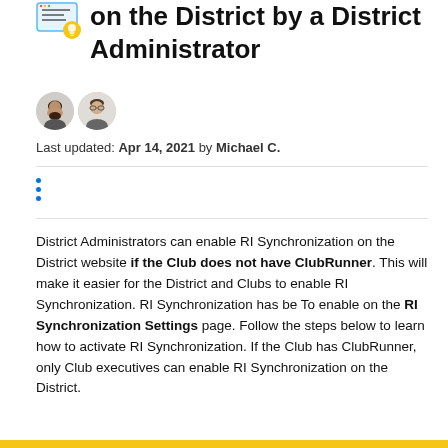on the District by a District Administrator
Last updated: Apr 14, 2021 by Michael C.
District Administrators can enable RI Synchronization on the District website if the Club does not have ClubRunner. This will make it easier for the District and Clubs to enable RI Synchronization. RI Synchronization has be To enable on the RI Synchronization Settings page. Follow the steps below to learn how to activate RI Synchronization. If the Club has ClubRunner, only Club executives can enable RI Synchronization on the District.